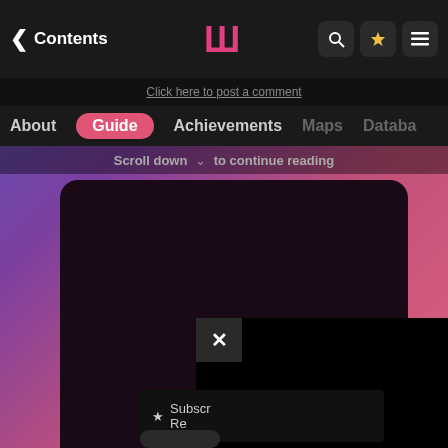< Contents
[Figure (screenshot): App logo styled text mark in pink/red color in center of top navigation bar]
[Figure (screenshot): Search icon button, star/bookmark icon button, and menu icon button in top-right of nav bar]
Click here to post a comment
About  Guide  Achievements  Maps  Database
Scroll down ∨ to continue reading
[Figure (screenshot): Large dark rounded rectangle card (content area), partially visible black advertisement overlay panel with X close button, and subscribe bar reading '★ Subscr... Re...']